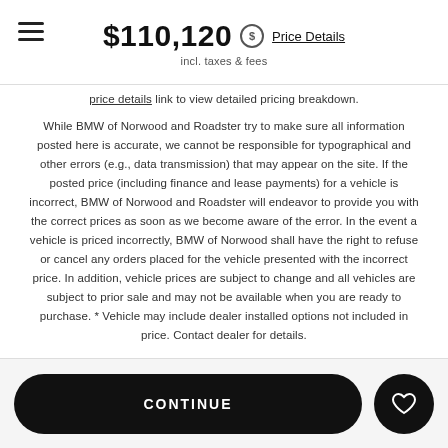$110,120 Price Details incl. taxes & fees
price details link to view detailed pricing breakdown.
While BMW of Norwood and Roadster try to make sure all information posted here is accurate, we cannot be responsible for typographical and other errors (e.g., data transmission) that may appear on the site. If the posted price (including finance and lease payments) for a vehicle is incorrect, BMW of Norwood and Roadster will endeavor to provide you with the correct prices as soon as we become aware of the error. In the event a vehicle is priced incorrectly, BMW of Norwood shall have the right to refuse or cancel any orders placed for the vehicle presented with the incorrect price. In addition, vehicle prices are subject to change and all vehicles are subject to prior sale and may not be available when you are ready to purchase. * Vehicle may include dealer installed options not included in price. Contact dealer for details.
CONTINUE